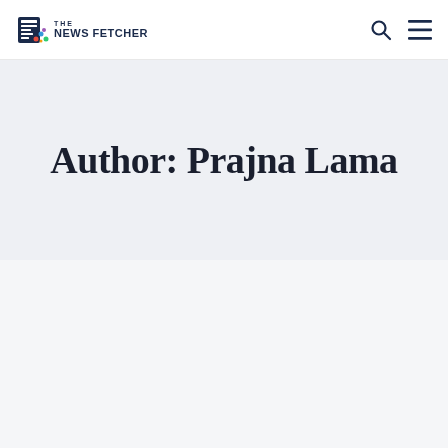The News Fetcher
Author: Prajna Lama
[Figure (other): Article card image placeholder (light gray rectangle)]